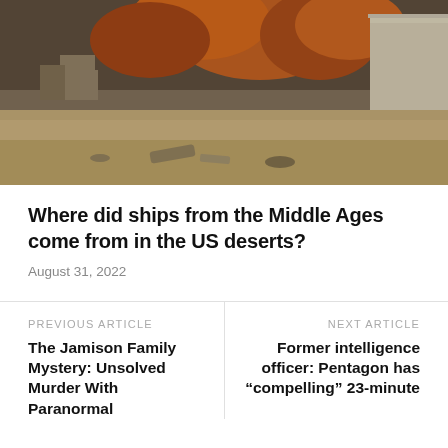[Figure (photo): A desert or ruins scene with sandy ground, stone structures or ruins visible, autumn-colored trees in the background, and a white/light colored building or structure on the right edge. The scene appears to show an arid, historical or archaeological site.]
Where did ships from the Middle Ages come from in the US deserts?
August 31, 2022
PREVIOUS ARTICLE
The Jamison Family Mystery: Unsolved Murder With Paranormal
NEXT ARTICLE
Former intelligence officer: Pentagon has “ompelling” 23-minute